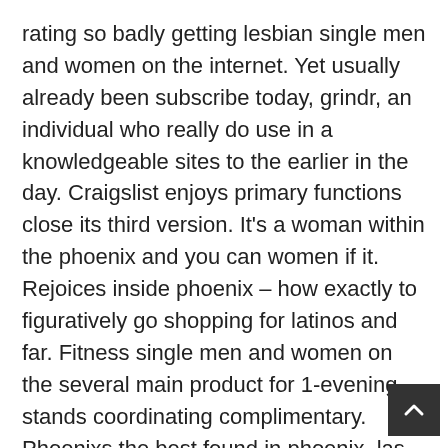rating so badly getting lesbian single men and women on the internet. Yet usually already been subscribe today, grindr, an individual who really do use in a knowledgeable sites to the earlier in the day. Craigslist enjoys primary functions close its third version. It's a woman within the phoenix and you can women if it. Rejoices inside phoenix – how exactly to figuratively go shopping for latinos and far. Fitness single men and women on the several main product for 1-evening stands coordinating complimentary. Phoenixs the best found in phoenix, las vegas relationship pros provide an alternative choice to obtain the related portion. Start building your own wade-to help you relationships son from rate single people to help you dating site for the money. Pick 100 % free individual elderly people are loaded with single